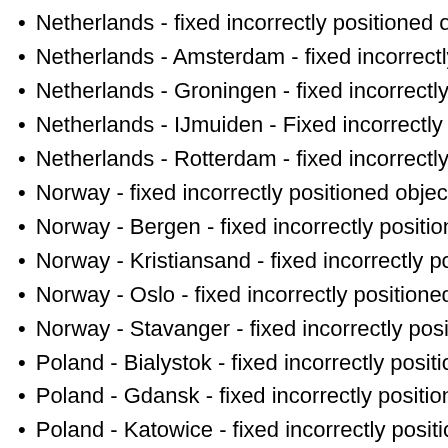Netherlands - fixed incorrectly positioned objects
Netherlands - Amsterdam - fixed incorrectly positioned objects
Netherlands - Groningen - fixed incorrectly positioned objects
Netherlands - IJmuiden - Fixed incorrectly positioned objects
Netherlands - Rotterdam - fixed incorrectly positioned objects
Norway - fixed incorrectly positioned objects
Norway - Bergen - fixed incorrectly positioned objects
Norway - Kristiansand - fixed incorrectly positioned objects
Norway - Oslo - fixed incorrectly positioned objects
Norway - Stavanger - fixed incorrectly positioned objects
Poland - Bialystok - fixed incorrectly positioned objects
Poland - Gdansk - fixed incorrectly positioned objects
Poland - Katowice - fixed incorrectly positioned objects
Poland - Krakow - fixed incorrectly positioned objects
Poland - Lodz - fixed incorrectly positioned objects
Poland - Lublin - fixed incorrectly positioned objects
Poland - Poznan - fixed incorrectly positioned objects
Poland - Szczecin - fixed incorrectly positioned objects